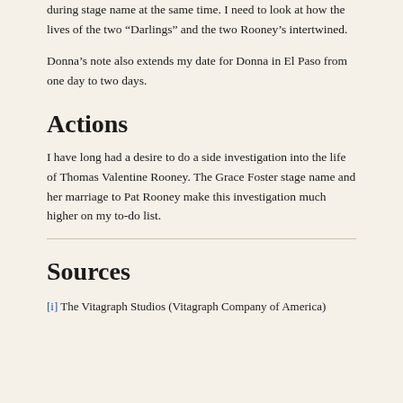during stage name at the same time. I need to look at how the lives of the two “Darlings” and the two Rooney’s intertwined.
Donna’s note also extends my date for Donna in El Paso from one day to two days.
Actions
I have long had a desire to do a side investigation into the life of Thomas Valentine Rooney. The Grace Foster stage name and her marriage to Pat Rooney make this investigation much higher on my to-do list.
Sources
[i] The Vitagraph Studios (Vitagraph Company of America)